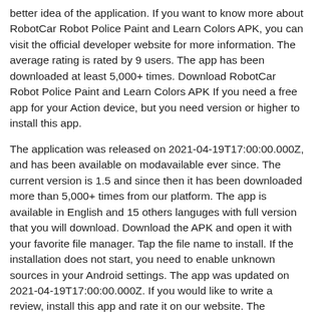better idea of the application. If you want to know more about RobotCar Robot Police Paint and Learn Colors APK, you can visit the official developer website for more information. The average rating is rated by 9 users. The app has been downloaded at least 5,000+ times. Download RobotCar Robot Police Paint and Learn Colors APK If you need a free app for your Action device, but you need version or higher to install this app.
The application was released on 2021-04-19T17:00:00.000Z, and has been available on modavailable ever since. The current version is 1.5 and since then it has been downloaded more than 5,000+ times from our platform. The app is available in English and 15 others languges with full version that you will download. Download the APK and open it with your favorite file manager. Tap the file name to install. If the installation does not start, you need to enable unknown sources in your Android settings. The app was updated on 2021-04-19T17:00:00.000Z. If you would like to write a review, install this app and rate it on our website. The download is as direct as our speed and we provide direct links to all available versions of RobotCar Robot Police Paint and Learn Colors APK for free. Please note that we provide both basic and pure APK files and faster download speeds for RobotCar Robot Police Paint and Learn Colors APK. You can also download RobotCar Robot Police Paint and Learn Colors APK and run it with the popular Android